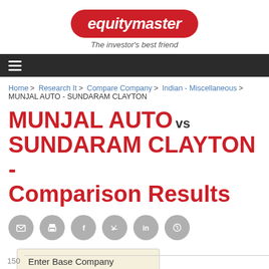equitymaster — The investor's best friend
Home > Research It > Compare Company > Indian - Miscellaneous > MUNJAL AUTO - SUNDARAM CLAYTON
MUNJAL AUTO vs SUNDARAM CLAYTON - Comparison Results
[Figure (infographic): Social sharing icons: email/envelope, print, Facebook, Twitter, LinkedIn, WhatsApp]
Enter Base Company
Rs 100 invested in...
150